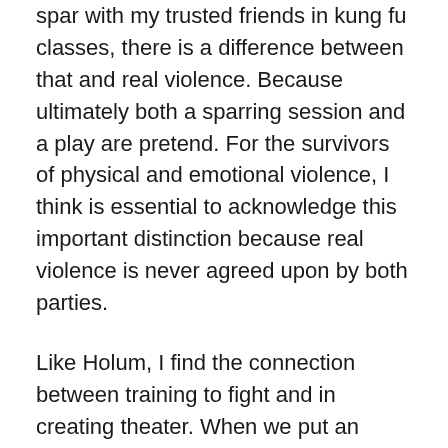spar with my trusted friends in kung fu classes, there is a difference between that and real violence. Because ultimately both a sparring session and a play are pretend. For the survivors of physical and emotional violence, I think is essential to acknowledge this important distinction because real violence is never agreed upon by both parties.
Like Holum, I find the connection between training to fight and in creating theater. When we put an event on the stage, just like when we square up with our training partners to spar, we have a contract with our audience and ultimately that is an implicit promise that they will get something out of sitting there for an hour or two. The audience trusts that this is going to happen (whether it does is another thing entirely). Everything in theater requires a kind of vulnerability that is so difficult to bear